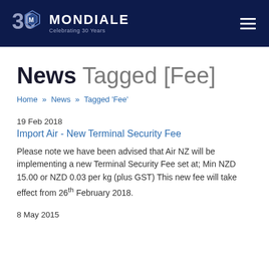Mondiale — Celebrating 30 Years
News Tagged [Fee]
Home » News » Tagged 'Fee'
19 Feb 2018
Import Air - New Terminal Security Fee
Please note we have been advised that Air NZ will be implementing a new Terminal Security Fee set at; Min NZD 15.00 or NZD 0.03 per kg (plus GST) This new fee will take effect from 26th February 2018.
8 May 2015